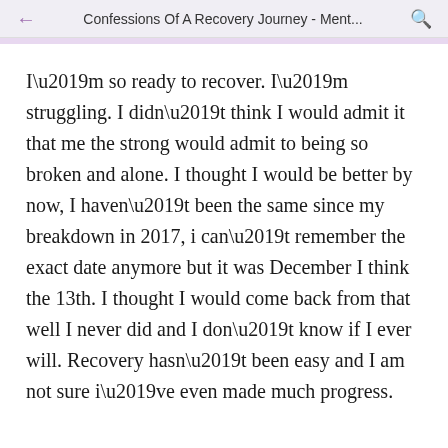Confessions Of A Recovery Journey - Ment...
I’m so ready to recover. I’m struggling. I didn’t think I would admit it that me the strong would admit to being so broken and alone. I thought I would be better by now, I haven’t been the same since my breakdown in 2017, i can’t remember the exact date anymore but it was December I think the 13th. I thought I would come back from that well I never did and I don’t know if I ever will. Recovery hasn’t been easy and I am not sure i’ve even made much progress.